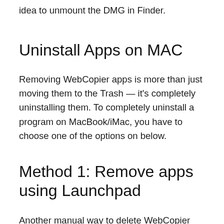idea to unmount the DMG in Finder.
Uninstall Apps on MAC
Removing WebCopier apps is more than just moving them to the Trash — it's completely uninstalling them. To completely uninstall a program on MacBook/iMac, you have to choose one of the options on below.
Method 1: Remove apps using Launchpad
Another manual way to delete WebCopier apps from your Mac is using the Launchpad. Here's how it works: